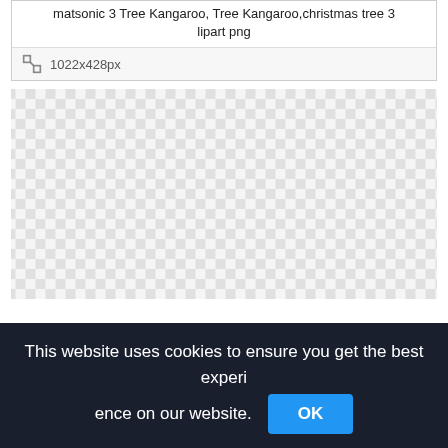matsonic 3 Tree Kangaroo, Tree Kangaroo,christmas tree 3 lipart png
1022x428px
[Figure (other): Transparent/checkerboard background pattern representing a PNG image preview area with transparency]
This website uses cookies to ensure you get the best experience on our website. OK